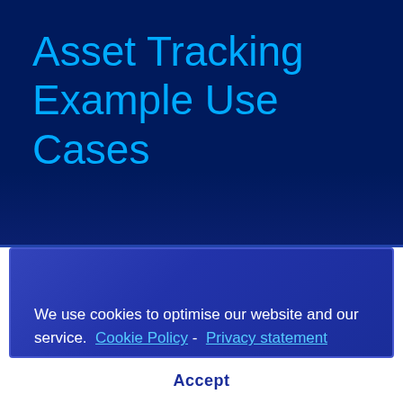Asset Tracking Example Use Cases
We use cookies to optimise our website and our service.  Cookie Policy -  Privacy statement
Accept